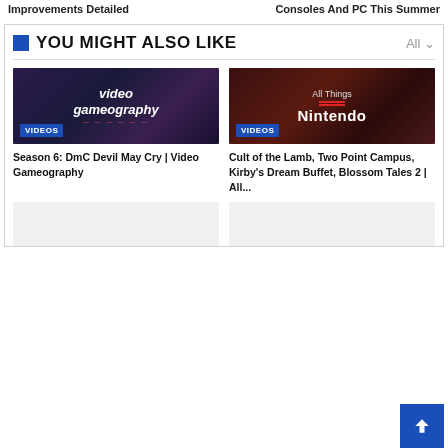Improvements Detailed
Consoles And PC This Summer
YOU MIGHT ALSO LIKE
[Figure (screenshot): Video Gameography thumbnail with VIDEOS badge]
Season 6: DmC Devil May Cry | Video Gameography
[Figure (screenshot): All Things Nintendo thumbnail with VIDEOS badge]
Cult of the Lamb, Two Point Campus, Kirby's Dream Buffet, Blossom Tales 2 | All...